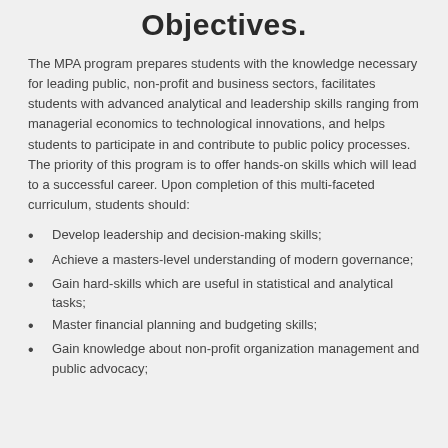Objectives.
The MPA program prepares students with the knowledge necessary for leading public, non-profit and business sectors, facilitates students with advanced analytical and leadership skills ranging from managerial economics to technological innovations, and helps students to participate in and contribute to public policy processes. The priority of this program is to offer hands-on skills which will lead to a successful career. Upon completion of this multi-faceted curriculum, students should:
Develop leadership and decision-making skills;
Achieve a masters-level understanding of modern governance;
Gain hard-skills which are useful in statistical and analytical tasks;
Master financial planning and budgeting skills;
Gain knowledge about non-profit organization management and public advocacy;